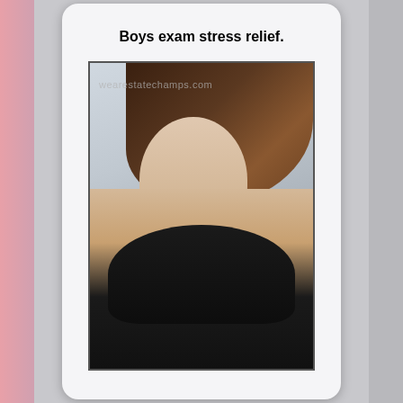Boys exam stress relief.
[Figure (photo): Woman in black bikini top posing, with watermark 'wearestatechamps.com']